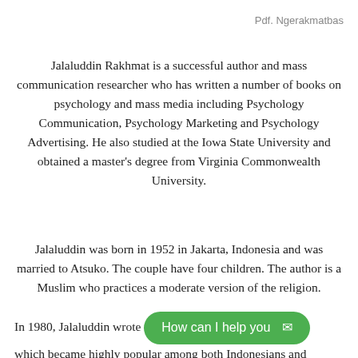Pdf. Ngerakmatbas
Jalaluddin Rakhmat is a successful author and mass communication researcher who has written a number of books on psychology and mass media including Psychology Communication, Psychology Marketing and Psychology Advertising. He also studied at the Iowa State University and obtained a master's degree from Virginia Commonwealth University.
Jalaluddin was born in 1952 in Jakarta, Indonesia and was married to Atsuko. The couple have four children. The author is a Muslim who practices a moderate version of the religion.
In 1980, Jalaluddin wrote [How can I help you] which became highly popular among both Indonesians and ...